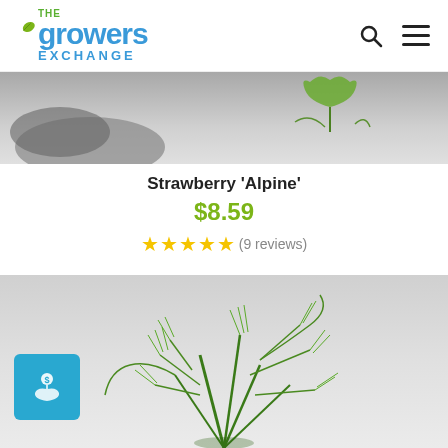[Figure (logo): The Growers Exchange logo with leaf icon, blue text]
[Figure (photo): Top partial plant/strawberry image strip, gray background]
Strawberry 'Alpine'
$8.59
★★★★★ (9 reviews)
[Figure (photo): Rosemary/herb plant photo on gray background with blue badge icon in bottom left]